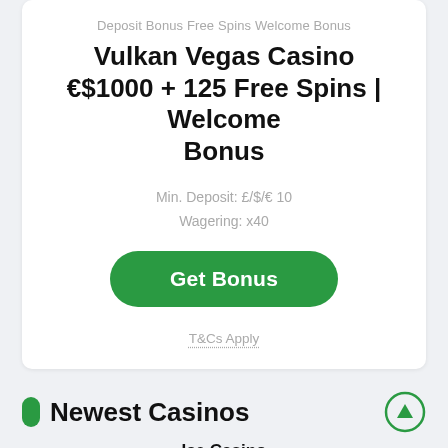Deposit Bonus Free Spins Welcome Bonus
Vulkan Vegas Casino €$1000 + 125 Free Spins | Welcome Bonus
Min. Deposit: £/$/€ 10
Wagering: x40
[Figure (other): Green rounded button with white text 'Get Bonus']
T&Cs Apply
Newest Casinos
Ice Casino